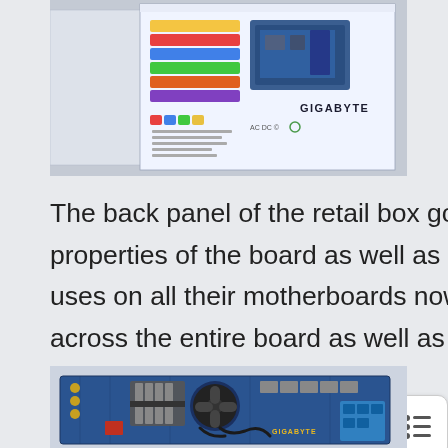[Figure (photo): Photo of a Gigabyte motherboard retail box, showing the back panel with colorful graphics and the Gigabyte logo on white box packaging.]
The back panel of the retail box goes into more detail about the thermal properties of the board as well as the extra two ounces of copper Gigabyte uses on all their motherboards now. This feature will help reduce heat across the entire board as well as reduce EMI.
[Figure (photo): Photo of a Gigabyte motherboard (blue PCB) showing the I/O ports, slots, and components from a top-angle view.]